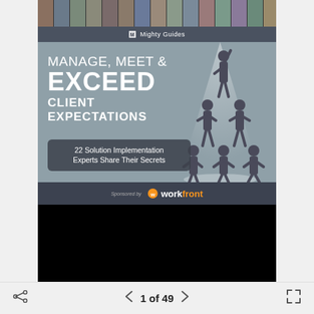[Figure (illustration): Book cover for 'Manage, Meet & Exceed Client Expectations' by Mighty Guides, sponsored by Workfront. Features a row of professional headshots at the top, a stylized illustration of a human pyramid in a spotlight on a blue-grey background, the book title in large white text, and a subtitle box reading '22 Solution Implementation Experts Share Their Secrets'.]
1 of 49